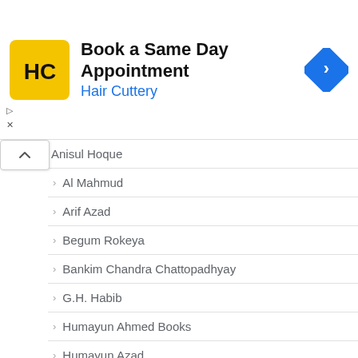[Figure (screenshot): Hair Cuttery advertisement banner with logo, 'Book a Same Day Appointment' text, and navigation arrow icon]
Anisul Hoque
Al Mahmud
Arif Azad
Begum Rokeya
Bankim Chandra Chattopadhyay
G.H. Habib
Humayun Ahmed Books
Humayun Azad
Imdadul Haq Milon
Jahanara Imam
Jasimuddin
Jibanananda Das
Kazi Nazrul Islam
Michael Madhusudan Dutta
Mir Mosharraf Hossain
Muhammed Zafar Iqbal
Pramatha Chowdhary
Sumanto Aslam
Tahmima Anam